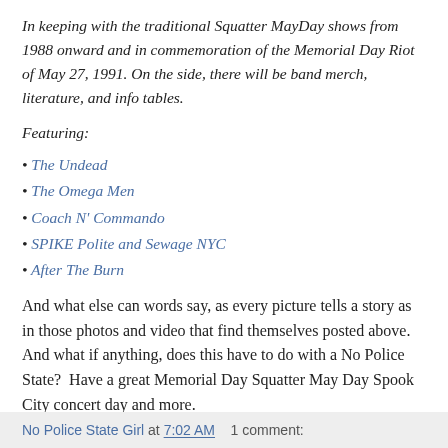In keeping with the traditional Squatter MayDay shows from 1988 onward and in commemoration of the Memorial Day Riot of May 27, 1991. On the side, there will be band merch, literature, and info tables.
Featuring:
The Undead
The Omega Men
Coach N' Commando
SPIKE Polite and Sewage NYC
After The Burn
And what else can words say, as every picture tells a story as in those photos and video that find themselves posted above.  And what if anything, does this have to do with a No Police State?  Have a great Memorial Day Squatter May Day Spook City concert day and more.
No Police State Girl at 7:02 AM    1 comment: